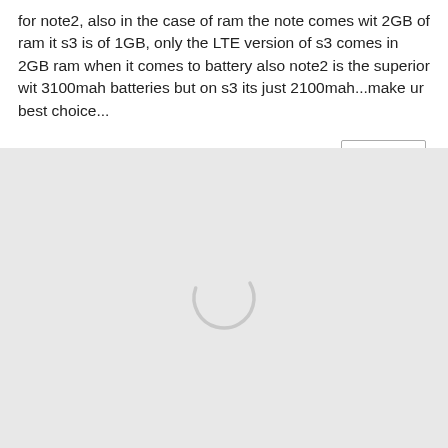for note2, also in the case of ram the note comes wit 2GB of ram it s3 is of 1GB, only the LTE version of s3 comes in 2GB ram when it comes to battery also note2 is the superior wit 3100mah batteries but on s3 its just 2100mah...make ur best choice...
[Figure (other): Loading spinner (partial arc circle) centered in a light grey area below the comment section]